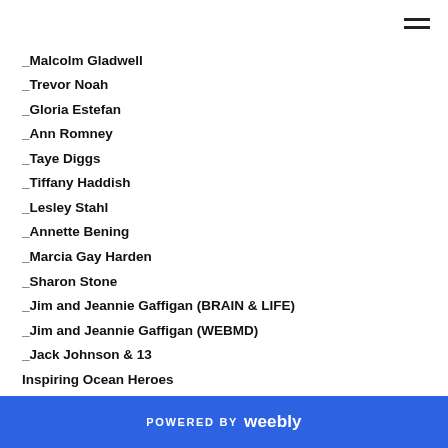_Malcolm Gladwell
_Trevor Noah
_Gloria Estefan
_Ann Romney
_Taye Diggs
_Tiffany Haddish
_Lesley Stahl
_Annette Bening
_Marcia Gay Harden
_Sharon Stone
_Jim and Jeannie Gaffigan (BRAIN & LIFE)
_Jim and Jeannie Gaffigan (WEBMD)
_Jack Johnson & 13
Inspiring Ocean Heroes
_ Jack Johnson Q&A (extra)
_Zoe Saldana
POWERED BY weebly